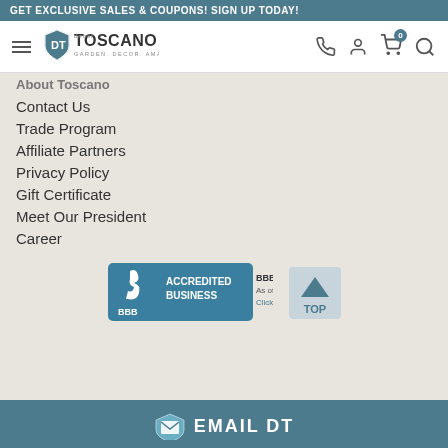GET EXCLUSIVE SALES & COUPONS! SIGN UP TODAY!
[Figure (logo): Design Toscano logo with shield icon, tagline: GARDEN. DECOR. AMAZING.]
About Toscano
Contact Us
Trade Program
Affiliate Partners
Privacy Policy
Gift Certificate
Meet Our President
Career
[Figure (logo): BBB Accredited Business badge with BBB Rating: A+ As of 9/2/2022 Click for Profile]
[Figure (other): TOP button with upward triangle arrow]
EMAIL DT